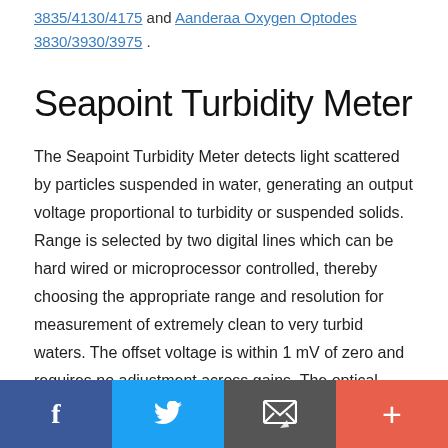3835/4130/4175 and Aanderaa Oxygen Optodes 3830/3930/3975.
Seapoint Turbidity Meter
The Seapoint Turbidity Meter detects light scattered by particles suspended in water, generating an output voltage proportional to turbidity or suspended solids. Range is selected by two digital lines which can be hard wired or microprocessor controlled, thereby choosing the appropriate range and resolution for measurement of extremely clean to very turbid waters. The offset voltage is within 1 mV of zero and requires no adjustment across gains. The optical design confines the sensing volume to within 5 cm of the sensor
Social share bar: Facebook, Twitter, Email, Plus